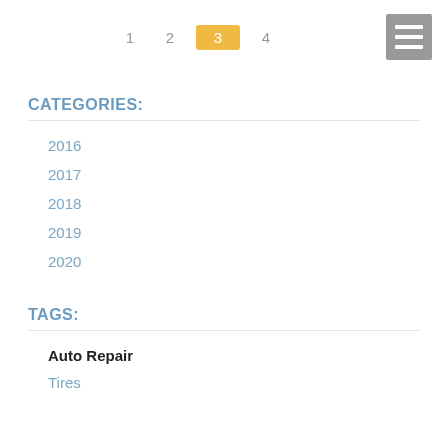1  2  3  4
CATEGORIES:
2016
2017
2018
2019
2020
TAGS:
Auto Repair
Tires